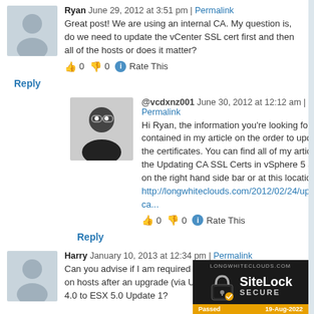Ryan June 29, 2012 at 3:51 pm | Permalink
Great post! We are using an internal CA. My question is, do we need to update the vCenter SSL cert first and then all of the hosts or does it matter?
👍 0 👎 0 ℹ Rate This
Reply
@vcdxnz001 June 30, 2012 at 12:12 am | Permalink
Hi Ryan, the information you're looking for is contained in my article on the order to update the certificates. You can find all of my articles in the Updating CA SSL Certs in vSphere 5 article on the right hand side bar or at this location – http://longwhiteclouds.com/2012/02/24/updating-ca...
👍 0 👎 0 ℹ Rate This
Reply
Harry January 10, 2013 at 12:34 pm | Permalink
Can you advise if I am required to replace the certificates on hosts after an upgrade (via Update Manager)from ESX 4.0 to ESX 5.0 Update 1?
[Figure (logo): SiteLock SECURE badge - LONGWHITECLOUDS.COM - Passed 19-Aug-2022]